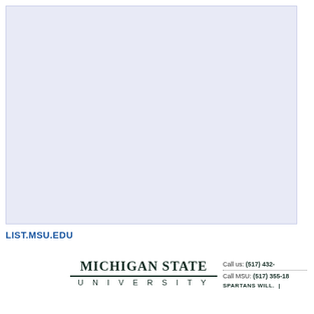[Figure (other): Light blue-lavender blank rectangular area, likely a screenshot or image placeholder]
LIST.MSU.EDU
[Figure (logo): Michigan State University logo with bold serif name over a horizontal rule and spaced-letter UNIVERSITY subtitle]
Call us: (517) 432-
Call MSU: (517) 355-18
SPARTANS WILL. |